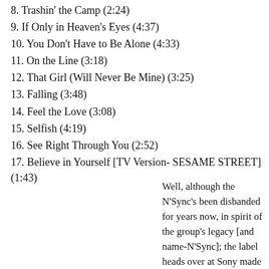8. Trashin' the Camp (2:24)
9. If Only in Heaven's Eyes (4:37)
10. You Don't Have to Be Alone (4:33)
11. On the Line (3:18)
12. That Girl (Will Never Be Mine) (3:25)
13. Falling (3:48)
14. Feel the Love (3:08)
15. Selfish (4:19)
16. See Right Through You (2:52)
17. Believe in Yourself [TV Version- SESAME STREET] (1:43)
Well, although the N'Sync's been disbanded for years now, in spirit of the group's legacy [and name-N'Sync]; the label heads over at Sony made sure to drop The Essential 14 years to this...